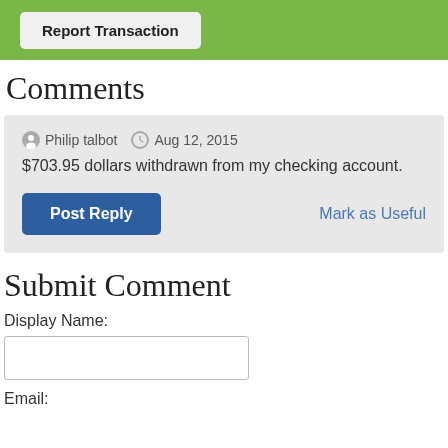Report Transaction
Comments
Philip talbot  Aug 12, 2015
$703.95 dollars withdrawn from my checking account.
Post Reply   Mark as Useful
Submit Comment
Display Name:
Email: